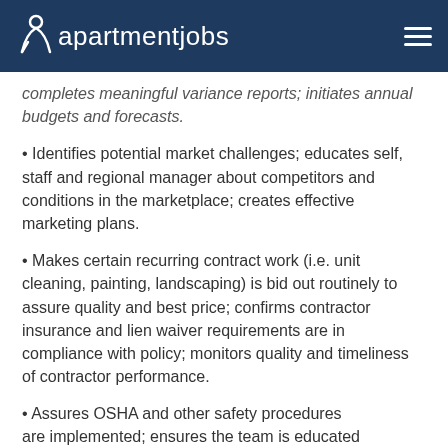apartmentjobs
completes meaningful variance reports; initiates annual budgets and forecasts.
Identifies potential market challenges; educates self, staff and regional manager about competitors and conditions in the marketplace; creates effective marketing plans.
Makes certain recurring contract work (i.e. unit cleaning, painting, landscaping) is bid out routinely to assure quality and best price; confirms contractor insurance and lien waiver requirements are in compliance with policy; monitors quality and timeliness of contractor performance.
Assures OSHA and other safety procedures are implemented; ensures the team is educated as needed regarding safety precautions, including routine safety meetings, and confirms up-to-date MSDS information is available.
Identifies, in conjunction with the maintenance